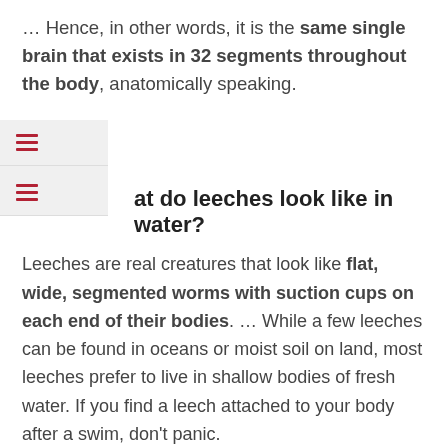… Hence, in other words, it is the same single brain that exists in 32 segments throughout the body, anatomically speaking.
What do leeches look like in water?
Leeches are real creatures that look like flat, wide, segmented worms with suction cups on each end of their bodies. … While a few leeches can be found in oceans or moist soil on land, most leeches prefer to live in shallow bodies of fresh water. If you find a leech attached to your body after a swim, don't panic.
Do leeches have any medical benefits?
Leeches are effective at increasing blood circulation and breaking up blood clots. It should be no surprise